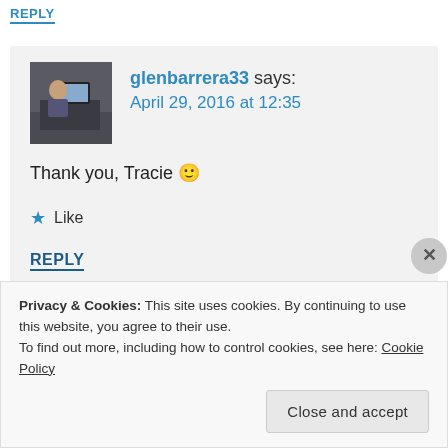REPLY
[Figure (photo): Avatar photo of glenbarrera33 showing a person at a desk with computer equipment]
glenbarrera33 says:
April 29, 2016 at 12:35
Thank you, Tracie 🙂
★ Like
REPLY
Privacy & Cookies: This site uses cookies. By continuing to use this website, you agree to their use.
To find out more, including how to control cookies, see here: Cookie Policy
Close and accept